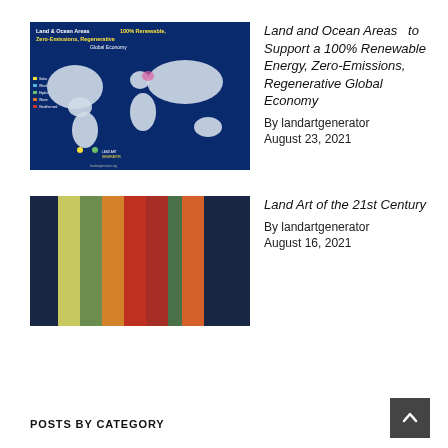[Figure (map): World map infographic titled 'Land & Ocean Areas to support 100% Renewable, Zero-Emissions, Regenerative Global Economy' on a dark blue background with white continents and colored legend markers.]
Land and Ocean Areas to Support a 100% Renewable Energy, Zero-Emissions, Regenerative Global Economy
By landartgenerator
August 23, 2021
[Figure (illustration): Abstract vertical color stripes in dark navy, yellow-green, olive, orange-red, crimson-red, dark green, and orange on a dark navy background.]
Land Art of the 21st Century
By landartgenerator
August 16, 2021
POSTS BY CATEGORY